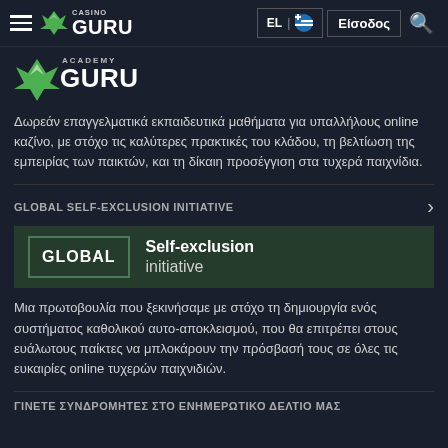Casino Guru — EL | Είσοδος
[Figure (logo): Academy Guru logo with green leaf icon]
Δωρεάν επαγγελματικά εκπαιδευτικά μαθήματα για υπαλλήλους online καζίνο, με στόχο τις καλύτερες πρακτικές του κλάδου, τη βελτίωση της εμπειρίας των παικτών, και τη δίκαιη προσέγγιση στα τυχερά παιχνίδια.
GLOBAL SELF-EXCLUSION INITIATIVE
[Figure (logo): Global Self-exclusion initiative logo — dark green box with GLOBAL text and Self-exclusion initiative text]
Μια πρωτοβουλία που ξεκινήσαμε με στόχο τη δημιουργία ενός συστήματος καθολικού αυτο-αποκλεισμού, που θα επιτρέπει στους ευάλωτους παίκτες να μπλοκάρουν την πρόσβασή τους σε όλες τις ευκαιρίες online τυχερών παιχνιδιών.
ΓΙΝΕΤΕ ΣΥΝΔΡΟΜΗΤΕΣ ΣΤΟ ΕΝΗΜΕΡΩΤΙΚΟ ΔΕΛΤΙΟ ΜΑΣ